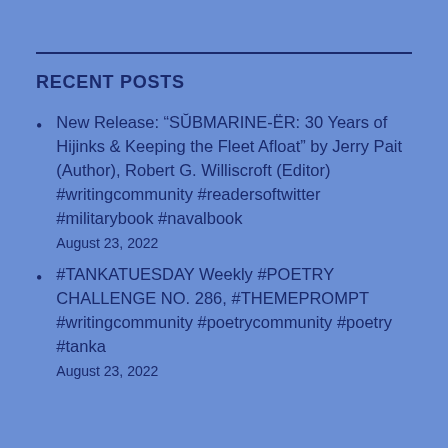RECENT POSTS
New Release: “SŬBMARINE-ËR: 30 Years of Hijinks & Keeping the Fleet Afloat” by Jerry Pait (Author), Robert G. Williscroft (Editor) #writingcommunity #readersoftwitter #militarybook #navalbook
August 23, 2022
#TANKATUESDAY Weekly #POETRY CHALLENGE NO. 286, #THEMEPROMPT #writingcommunity #poetrycommunity #poetry #tanka
August 23, 2022